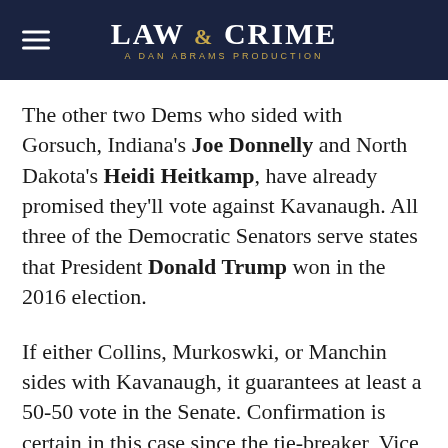LAW & CRIME — A DAN ABRAMS PRODUCTION
The other two Dems who sided with Gorsuch, Indiana's Joe Donnelly and North Dakota's Heidi Heitkamp, have already promised they'll vote against Kavanaugh. All three of the Democratic Senators serve states that President Donald Trump won in the 2016 election.
If either Collins, Murkoswki, or Manchin sides with Kavanaugh, it guarantees at least a 50-50 vote in the Senate. Confirmation is certain in this case since the tie-breaker, Vice President Mike Pence, is guaranteed to side with the nominee.
[Image via ANDREW HARNIK/AFP/Getty Images]